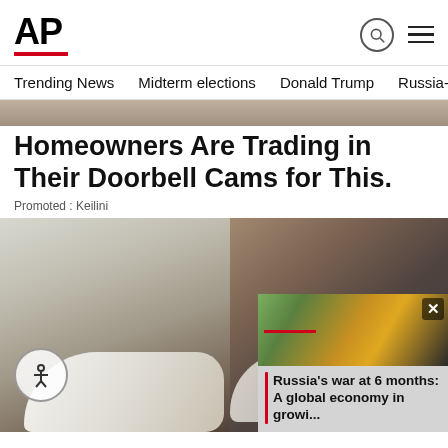AP
Trending News
Midterm elections
Donald Trump
Russia-Ukr
[Figure (photo): Close-up of person wearing white pants and white perforated casual shoes on a dark pavement surface]
Homeowners Are Trading in Their Doorbell Cams for This.
Promoted : Keilini
[Figure (photo): Overlay news card showing a street scene with text: Russia’s war at 6 months: A global economy in growi...]